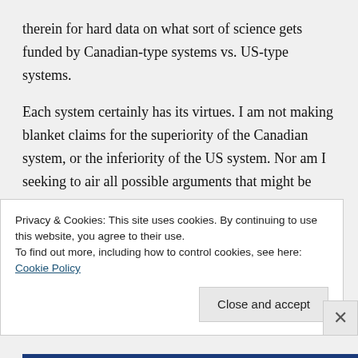therein for hard data on what sort of science gets funded by Canadian-type systems vs. US-type systems.
Each system certainly has its virtues. I am not making blanket claims for the superiority of the Canadian system, or the inferiority of the US system. Nor am I seeking to air all possible arguments that might be brought to bear on the
Privacy & Cookies: This site uses cookies. By continuing to use this website, you agree to their use.
To find out more, including how to control cookies, see here: Cookie Policy